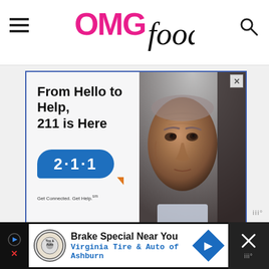OMGfood
[Figure (infographic): Advertisement: 'From Hello to Help, 211 is Here' with 211 logo badge and photo of elderly man. Get Connected. Get Help.]
[Figure (infographic): Bottom banner ad: Brake Special Near You - Virginia Tire & Auto of Ashburn, with tire logo and navigation diamond icon]